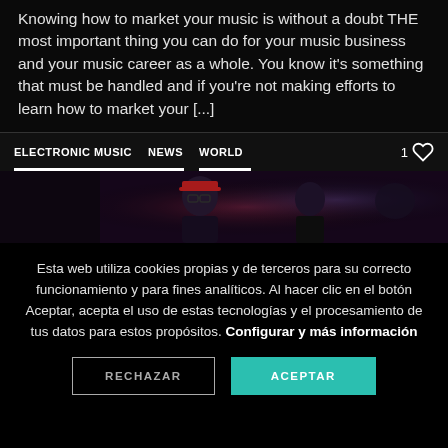Knowing how to market your music is without a doubt THE most important thing you can do for your music business and your music career as a whole. You know it's something that must be handled and if you're not making efforts to learn how to market your [...]
ELECTRONIC MUSIC   NEWS   WORLD
[Figure (photo): Dark image strip showing silhouettes of people, appears to be a music-related promotional image with dark purple/red tones]
Esta web utiliza cookies propias y de terceros para su correcto funcionamiento y para fines analíticos. Al hacer clic en el botón Aceptar, acepta el uso de estas tecnologías y el procesamiento de tus datos para estos propósitos. Configurar y más información